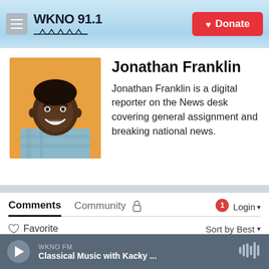WKNO 91.1 | Donate
[Figure (photo): Headshot photo of Jonathan Franklin, a young Black man smiling, wearing a plaid shirt, against an orange/yellow background.]
Jonathan Franklin
Jonathan Franklin is a digital reporter on the News desk covering general assignment and breaking national news.
Comments
Community  🔒   1  Login ▾
♡ Favorite    Sort by Best ▾
WKNO FM  Classical Music with Kacky ...